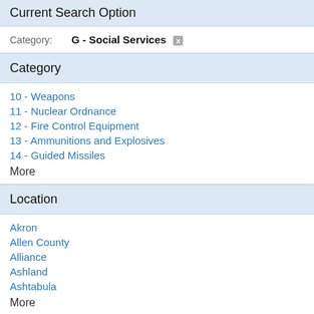Current Search Option
Category: G - Social Services [x]
Category
10 - Weapons
11 - Nuclear Ordnance
12 - Fire Control Equipment
13 - Ammunitions and Explosives
14 - Guided Missiles
More
Location
Akron
Allen County
Alliance
Ashland
Ashtabula
More